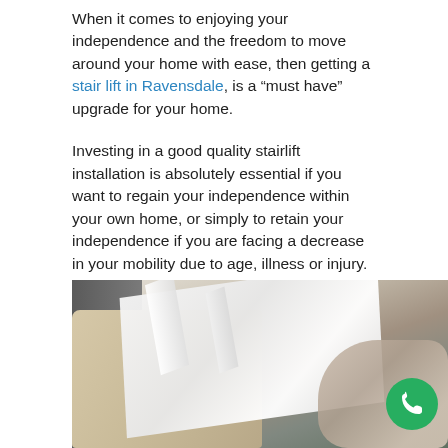When it comes to enjoying your independence and the freedom to move around your home with ease, then getting a stair lift in Ravensdale, is a “must have” upgrade for your home.
Investing in a good quality stairlift installation is absolutely essential if you want to regain your independence within your own home, or simply to retain your independence if you are facing a decrease in your mobility due to age, illness or injury.
[Figure (photo): A person lying/reclining on a stairlift seat, visible from the torso down, wearing white clothing. The stairlift has a beige cushioned seat. A green circular phone/call button icon is visible in the bottom right corner of the image.]